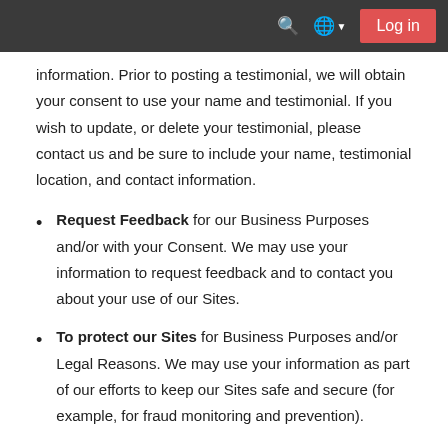Log in
information. Prior to posting a testimonial, we will obtain your consent to use your name and testimonial. If you wish to update, or delete your testimonial, please contact us and be sure to include your name, testimonial location, and contact information.
Request Feedback for our Business Purposes and/or with your Consent. We may use your information to request feedback and to contact you about your use of our Sites.
To protect our Sites for Business Purposes and/or Legal Reasons. We may use your information as part of our efforts to keep our Sites safe and secure (for example, for fraud monitoring and prevention).
To enable user-to-user communications. We may use your